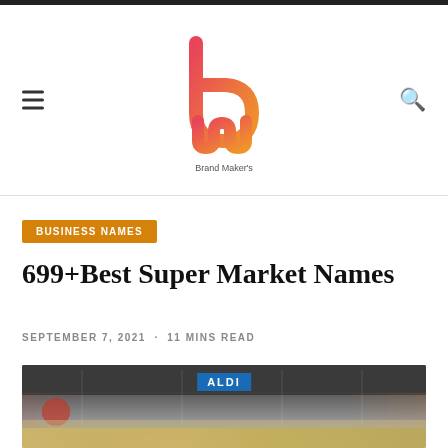Brand Makers
[Figure (logo): Brand Makers logo — stylized 'bm' letters in a coral/orange-red gradient with a circular design, text 'Brand Maker's' below]
BUSINESS NAMES
699+Best Super Market Names
SEPTEMBER 7, 2021 · 11 MINS READ
[Figure (photo): Interior of an ALDI supermarket showing the produce section with a blue ALDI sign prominently displayed overhead, store aisles, and colorful products on shelves]